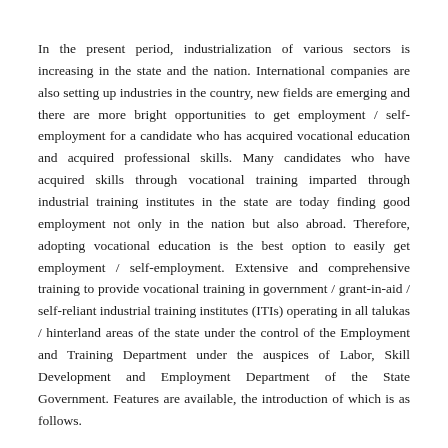In the present period, industrialization of various sectors is increasing in the state and the nation. International companies are also setting up industries in the country, new fields are emerging and there are more bright opportunities to get employment / self-employment for a candidate who has acquired vocational education and acquired professional skills. Many candidates who have acquired skills through vocational training imparted through industrial training institutes in the state are today finding good employment not only in the nation but also abroad. Therefore, adopting vocational education is the best option to easily get employment / self-employment. Extensive and comprehensive training to provide vocational training in government / grant-in-aid / self-reliant industrial training institutes (ITIs) operating in all talukas / hinterland areas of the state under the control of the Employment and Training Department under the auspices of Labor, Skill Development and Employment Department of the State Government. Features are available, the introduction of which is as follows.